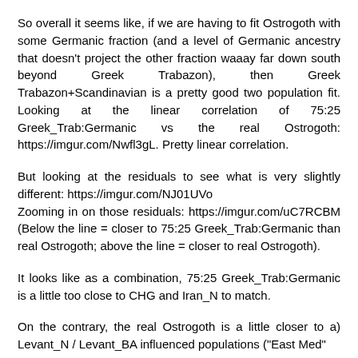So overall it seems like, if we are having to fit Ostrogoth with some Germanic fraction (and a level of Germanic ancestry that doesn't project the other fraction waaay far down south beyond Greek Trabazon), then Greek Trabazon+Scandinavian is a pretty good two population fit. Looking at the linear correlation of 75:25 Greek_Trab:Germanic vs the real Ostrogoth: https://imgur.com/Nwfl3gL. Pretty linear correlation.
But looking at the residuals to see what is very slightly different: https://imgur.com/NJ01UVo
Zooming in on those residuals: https://imgur.com/uC7RCBM (Below the line = closer to 75:25 Greek_Trab:Germanic than real Ostrogoth; above the line = closer to real Ostrogoth).
It looks like as a combination, 75:25 Greek_Trab:Germanic is a little too close to CHG and Iran_N to match.
On the contrary, the real Ostrogoth is a little closer to a) Levant_N / Levant_BA influenced populations ("East Med"